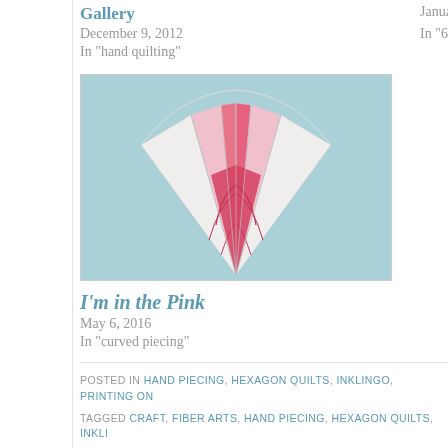Gallery
December 9, 2012
In "hand quilting"
January 18, 2013
In "60-degree di
[Figure (photo): A fan-shaped quilt block made of pink and white fabric pieces arranged in a fan/tulip pattern on a light blue background. The center pieces have a rose/butterfly print pattern in deeper pink.]
I'm in the Pink
May 6, 2016
In "curved piecing"
POSTED IN HAND PIECING, HEXAGON QUILTS, INKLINGO, PRINTING ON
TAGGED CRAFT, FIBER ARTS, HAND PIECING, HEXAGON QUILTS, INKLI
PRINTING ON FABRIC, QUILT, YIN YANG QUILT